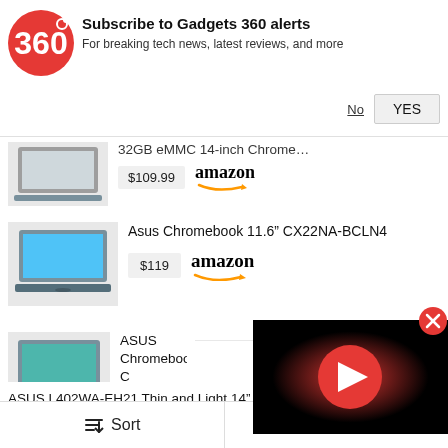[Figure (screenshot): Gadgets 360 notification subscribe banner with logo, title, subtitle, No and YES buttons]
[Figure (screenshot): Product listing: partial laptop image with '32GB eMMC 14-inch Chrom...' title, price $109.99, Amazon logo]
[Figure (screenshot): Product listing: Asus Chromebook 11.6 CX22NA-BCLN4 laptop image, price $119, Amazon logo]
[Figure (screenshot): Product listing: ASUS Chromebook C Chromebook Laptop laptop image, price $128.99, Amazon logo (partially obscured by video overlay)]
ASUS L402WA-EH21 Thin and Light 14" HD Laptop: AMD E2-6110 C
[Figure (screenshot): YouTube video overlay with play button on black background, and red close (X) button]
Sort    Filter (1)